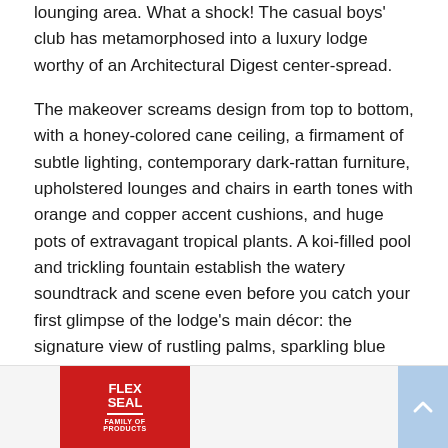lounging area. What a shock! The casual boys' club has metamorphosed into a luxury lodge worthy of an Architectural Digest center-spread.
The makeover screams design from top to bottom, with a honey-colored cane ceiling, a firmament of subtle lighting, contemporary dark-rattan furniture, upholstered lounges and chairs in earth tones with orange and copper accent cushions, and huge pots of extravagant tropical plants. A koi-filled pool and trickling fountain establish the watery soundtrack and scene even before you catch your first glimpse of the lodge's main décor: the signature view of rustling palms, sparkling blue Gulf waters, and the hazy, green outline of the Osa Peninsula.
[Figure (other): Flex Seal Family of Products advertisement banner at the bottom of the page with red logo background, play and close controls, and a blue scroll-to-top button on the right.]